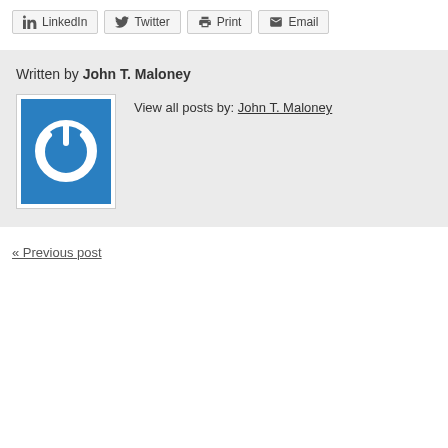LinkedIn
Twitter
Print
Email
Written by John T. Maloney
[Figure (logo): Blue square with white power button icon]
View all posts by: John T. Maloney
« Previous post